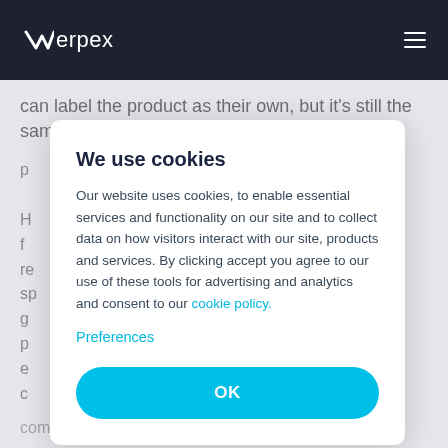Verpex
can label the product as their own, but it's still the same
p...
H... f... re... sp... g... p... e... c...
competitors sell.
[Figure (screenshot): Cookie consent modal dialog with title 'We use cookies', body text about cookie usage and a link to cookie policy, a Preferences link, and an OK button]
We use cookies
Our website uses cookies, to enable essential services and functionality on our site and to collect data on how visitors interact with our site, products and services. By clicking accept you agree to our use of these tools for advertising and analytics and consent to our cookie policy.
Preferences
OK